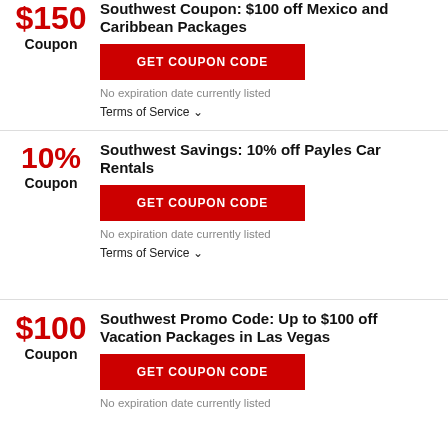$150 Coupon
Southwest Coupon: $100 off Mexico and Caribbean Packages
GET COUPON CODE
No expiration date currently listed
Terms of Service ∨
10% Coupon
Southwest Savings: 10% off Payles Car Rentals
GET COUPON CODE
No expiration date currently listed
Terms of Service ∨
$100 Coupon
Southwest Promo Code: Up to $100 off Vacation Packages in Las Vegas
GET COUPON CODE
No expiration date currently listed